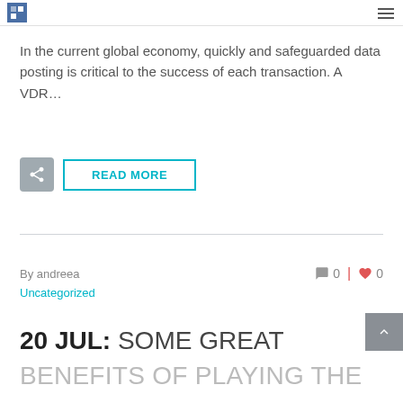In the current global economy, quickly and safeguarded data posting is critical to the success of each transaction. A VDR…
READ MORE
By andreea   0   0
Uncategorized
20 JUL: SOME GREAT BENEFITS OF PLAYING THE